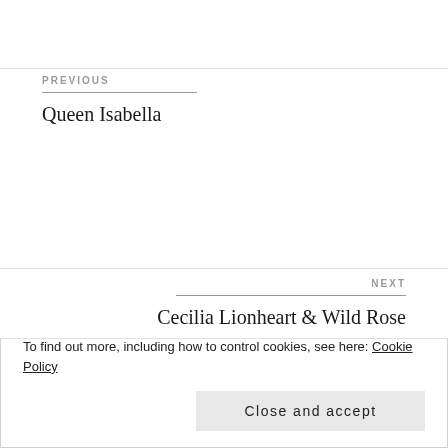PREVIOUS
Queen Isabella
NEXT
Cecilia Lionheart & Wild Rose
97 thoughts on “Dataline:
Privacy & Cookies: This site uses cookies. By continuing to use this website, you agree to their use.
To find out more, including how to control cookies, see here: Cookie Policy
Close and accept